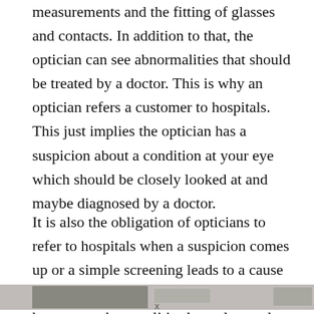measurements and the fitting of glasses and contacts. In addition to that, the optician can see abnormalities that should be treated by a doctor. This is why an optician refers a customer to hospitals. This just implies the optician has a suspicion about a condition at your eye which should be closely looked at and maybe diagnosed by a doctor.
It is also the obligation of opticians to refer to hospitals when a suspicion comes up or a simple screening leads to a cause of suspicion. In this article, you will learn how some abnormalities have detected that lead to a referral to a hospital.
[Figure (photo): Partial bottom edge of a photo visible at the bottom of the page, showing a blurred scene.]
x